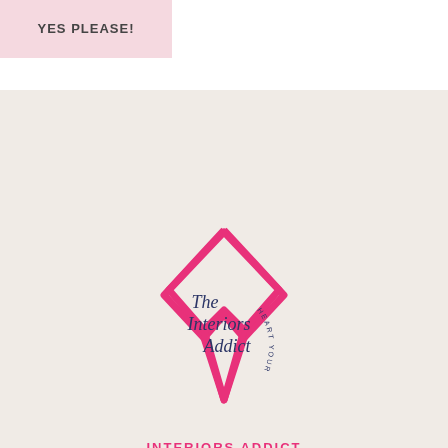YES PLEASE!
[Figure (logo): The Interiors Addict heart-shaped logo with text 'The Interiors Addict' and tagline 'HEART YOUR HOME' in pink outline heart shape]
INTERIORS ADDICT
About
Contact
Work with Jen
Press
Jobs